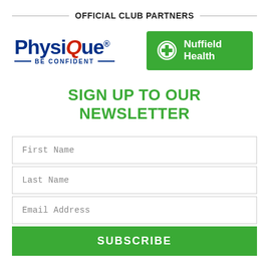OFFICIAL CLUB PARTNERS
[Figure (logo): PhysiQue logo with 'BE CONFIDENT' tagline and Nuffield Health green logo side by side]
SIGN UP TO OUR NEWSLETTER
First Name
Last Name
Email Address
SUBSCRIBE